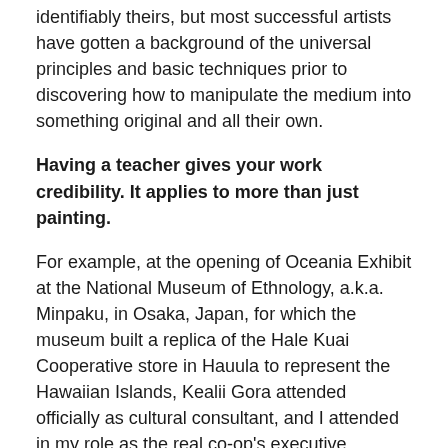identifiably theirs, but most successful artists have gotten a background of the universal principles and basic techniques prior to discovering how to manipulate the medium into something original and all their own.
Having a teacher gives your work credibility. It applies to more than just painting.
For example, at the opening of Oceania Exhibit at the National Museum of Ethnology, a.k.a. Minpaku, in Osaka, Japan, for which the museum built a replica of the Hale Kuai Cooperative store in Hauula to represent the Hawaiian Islands, Kealii Gora attended officially as cultural consultant, and I attended in my role as the real co-op's executive director.
Ka Lahui Hawaii and yours truly co-founded the